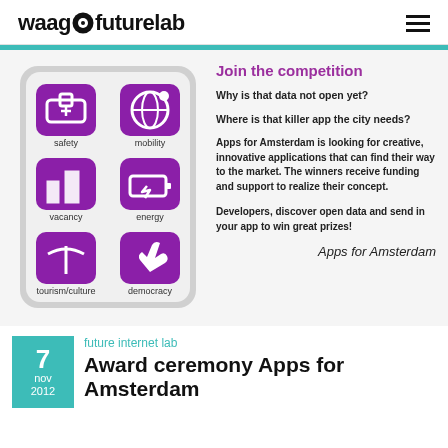waag futurelab
[Figure (illustration): Tablet device showing six purple app category icons: safety (first aid kit), mobility (globe with orbit), vacancy (buildings), energy (lightning bolt battery), tourism/culture (umbrella/plant), democracy (hand with pen). Each icon is on a purple rounded square with white icon and label below.]
Join the competition
Why is that data not open yet?
Where is that killer app the city needs?
Apps for Amsterdam is looking for creative, innovative applications that can find their way to the market. The winners receive funding and support to realize their concept.
Developers, discover open data and send in your app to win great prizes!
Apps for Amsterdam
future internet lab
Award ceremony Apps for Amsterdam